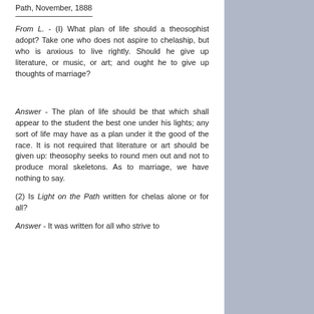Path, November, 1888
From L. - (I) What plan of life should a theosophist adopt? Take one who does not aspire to chelaship, but who is anxious to live rightly. Should he give up literature, or music, or art; and ought he to give up thoughts of marriage?
Answer - The plan of life should be that which shall appear to the student the best one under his lights; any sort of life may have as a plan under it the good of the race. It is not required that literature or art should be given up: theosophy seeks to round men out and not to produce moral skeletons. As to marriage, we have nothing to say.
(2) Is Light on the Path written for chelas alone or for all?
Answer - It was written for all who strive to